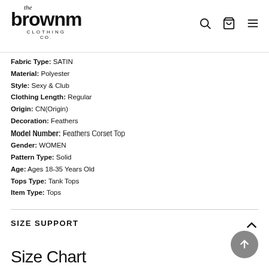[Figure (logo): The brownm CLOTHING CO. logo with script 'the' above bold 'brownm' wordmark]
Fabric Type: SATIN
Material: Polyester
Style: Sexy & Club
Clothing Length: Regular
Origin: CN(Origin)
Decoration: Feathers
Model Number: Feathers Corset Top
Gender: WOMEN
Pattern Type: Solid
Age: Ages 18-35 Years Old
Tops Type: Tank Tops
Item Type: Tops
SIZE SUPPORT
Size Chart